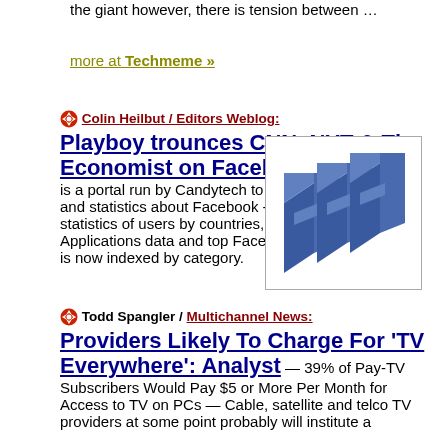the giant however, there is tension between …
more at Techmeme »
Colin Heilbut / Editors Weblog: Playboy trounces CNN, NYT & The Economist on Facebook — Facebakers is a portal run by Candytech to deliver up-to-date data and statistics about Facebook - including Facebook statistics of users by countries, top Facebook Applications data and top Facebook Page data, which is now indexed by category.
[Figure (logo): 3D Facebook logo icon — blue stacked letter F blocks]
Todd Spangler / Multichannel News: Providers Likely To Charge For 'TV Everywhere': Analyst — 39% of Pay-TV Subscribers Would Pay $5 or More Per Month for Access to TV on PCs — Cable, satellite and telco TV providers at some point probably will institute a